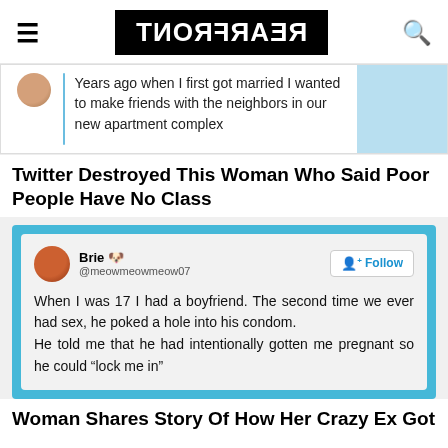REARFRONT (logo, mirrored)
[Figure (screenshot): Partial tweet screenshot showing text: 'Years ago when I first got married I wanted to make friends with the neighbors in our new apartment complex']
Twitter Destroyed This Woman Who Said Poor People Have No Class
[Figure (screenshot): Tweet by Brie (@meowmeowmeow07): 'When I was 17 I had a boyfriend. The second time we ever had sex, he poked a hole into his condom. He told me that he had intentionally gotten me pregnant so he could "lock me in"']
Woman Shares Story Of How Her Crazy Ex Got